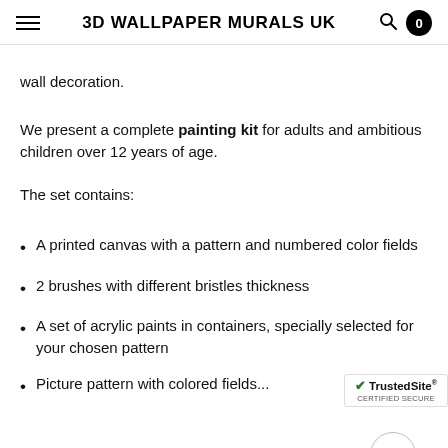3D WALLPAPER MURALS UK
wall decoration.
We present a complete painting kit for adults and ambitious children over 12 years of age.
The set contains:
A printed canvas with a pattern and numbered color fields
2 brushes with different bristles thickness
A set of acrylic paints in containers, specially selected for your chosen pattern
Picture pattern with colored fields...